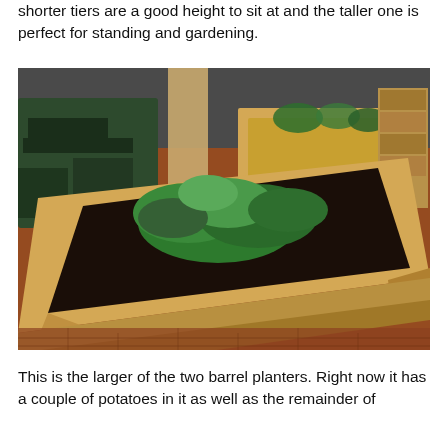shorter tiers are a good height to sit at and the taller one is perfect for standing and gardening.
[Figure (photo): A raised wooden planter table filled with green plants and dark soil, set on a brick patio. Several green benches and additional planter tables are visible in the background.]
This is the larger of the two barrel planters. Right now it has a couple of potatoes in it as well as the remainder of